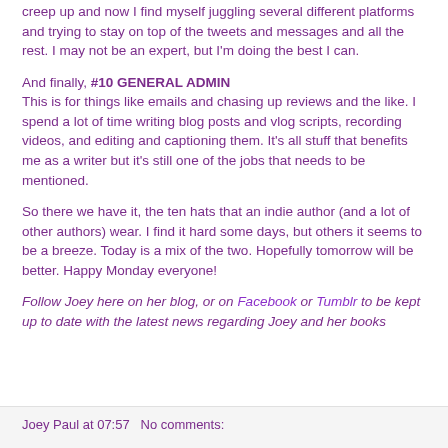creep up and now I find myself juggling several different platforms and trying to stay on top of the tweets and messages and all the rest. I may not be an expert, but I'm doing the best I can.
And finally, #10 GENERAL ADMIN
This is for things like emails and chasing up reviews and the like. I spend a lot of time writing blog posts and vlog scripts, recording videos, and editing and captioning them. It's all stuff that benefits me as a writer but it's still one of the jobs that needs to be mentioned.
So there we have it, the ten hats that an indie author (and a lot of other authors) wear. I find it hard some days, but others it seems to be a breeze. Today is a mix of the two. Hopefully tomorrow will be better. Happy Monday everyone!
Follow Joey here on her blog, or on Facebook or Tumblr to be kept up to date with the latest news regarding Joey and her books
Joey Paul at 07:57   No comments: